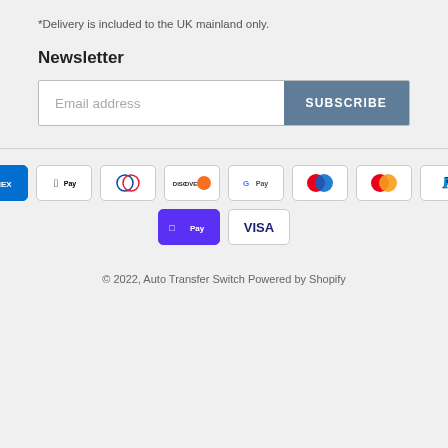*Delivery is included to the UK mainland only.
Newsletter
Email address | SUBSCRIBE
[Figure (logo): Payment method icons: American Express, Apple Pay, Diners Club, Discover, Google Pay, Mastercard (2 variants), PayPal, Shop Pay, Visa]
© 2022, Auto Transfer Switch Powered by Shopify